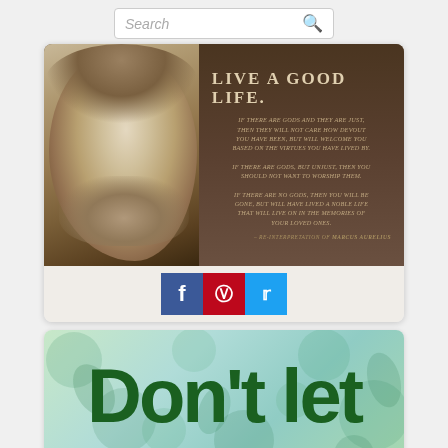[Figure (screenshot): Search bar with magnifying glass icon]
[Figure (photo): Marcus Aurelius bust with quote: LIVE A GOOD LIFE. If there are gods and they are just, then they will not care how devout you have been, but will welcome you based on the virtues you have lived by. If there are gods, but unjust, then you should not want to worship them. If there are no gods, then you will be gone, but will have lived a noble life that will live on in the memories of your loved ones. - Re-interpretation of Marcus Aurelius]
[Figure (screenshot): Social sharing buttons: Facebook, Pinterest, Twitter]
[Figure (illustration): Green decorative background with text Don't let in large dark green bold letters]